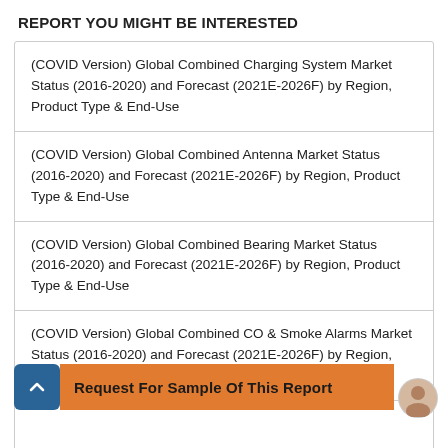REPORT YOU MIGHT BE INTERESTED
(COVID Version) Global Combined Charging System Market Status (2016-2020) and Forecast (2021E-2026F) by Region, Product Type & End-Use
(COVID Version) Global Combined Antenna Market Status (2016-2020) and Forecast (2021E-2026F) by Region, Product Type & End-Use
(COVID Version) Global Combined Bearing Market Status (2016-2020) and Forecast (2021E-2026F) by Region, Product Type & End-Use
(COVID Version) Global Combined CO & Smoke Alarms Market Status (2016-2020) and Forecast (2021E-2026F) by Region, Product Type & End-Use
...ng Market Status (2016-2020) and Forecast (2021E-2026F) by Region,
Request For Sample Of This Report